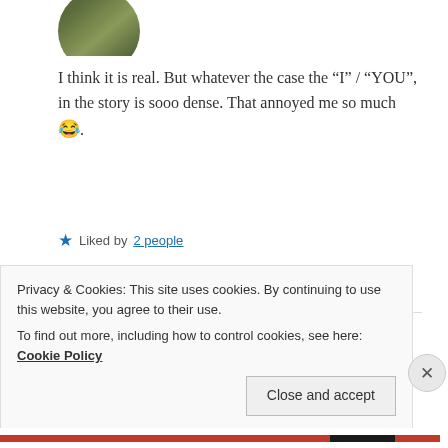[Figure (photo): Circular avatar photo showing a person outdoors, partially cropped at top of page]
I think it is real. But whatever the case the “I” / “YOU”, in the story is sooo dense. That annoyed me so much😂.
★ Liked by 2 people
REPLY
[Figure (photo): Circular avatar photo of Zealous Homo Sapiens, person wearing a hat, brownish-red tones]
ZEALOUS HOMO SAPIENS
17 May 2019 at 7:46 am
Privacy & Cookies: This site uses cookies. By continuing to use this website, you agree to their use.
To find out more, including how to control cookies, see here: Cookie Policy
Close and accept